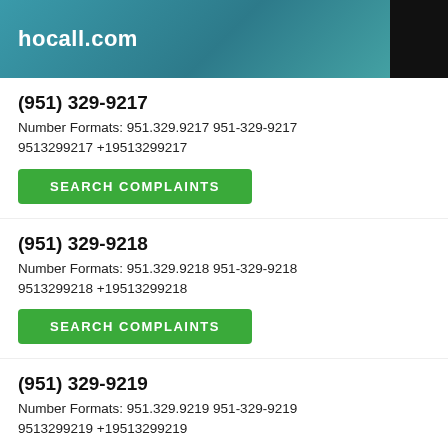hocall.com
(951) 329-9217
Number Formats: 951.329.9217 951-329-9217 9513299217 +19513299217
SEARCH COMPLAINTS
(951) 329-9218
Number Formats: 951.329.9218 951-329-9218 9513299218 +19513299218
SEARCH COMPLAINTS
(951) 329-9219
Number Formats: 951.329.9219 951-329-9219 9513299219 +19513299219
SEARCH COMPLAINTS